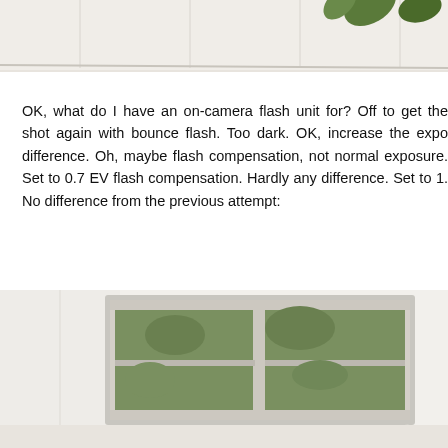[Figure (photo): Partial view of a room interior, top portion, showing ceiling and a plant leaf in the upper right corner against a white wall.]
OK, what do I have an on-camera flash unit for? Off to get the shot again with bounce flash. Too dark. OK, increase the expo difference. Oh, maybe flash compensation, not normal exposure. Set to 0.7 EV flash compensation. Hardly any difference. Set to 1. No difference from the previous attempt:
[Figure (photo): Interior room photo showing a window with green exterior view, white window frame, white walls, and white flowers or plant in the lower right. Room appears to be a bathroom or kitchen.]